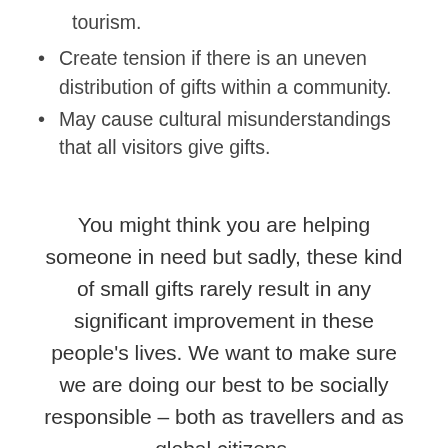tourism.
Create tension if there is an uneven distribution of gifts within a community.
May cause cultural misunderstandings that all visitors give gifts.
You might think you are helping someone in need but sadly, these kind of small gifts rarely result in any significant improvement in these people’s lives. We want to make sure we are doing our best to be socially responsible – both as travellers and as global citizens.